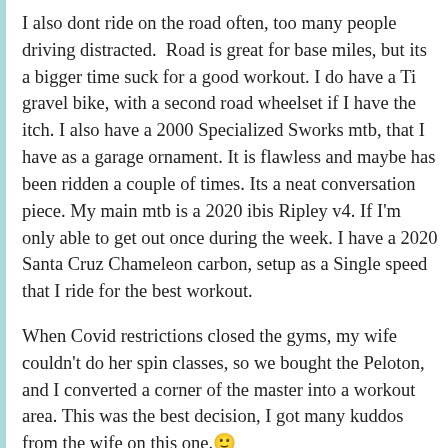I also dont ride on the road often, too many people driving distracted.  Road is great for base miles, but its a bigger time suck for a good workout. I do have a Ti gravel bike, with a second road wheelset if I have the itch. I also have a 2000 Specialized Sworks mtb, that I have as a garage ornament. It is flawless and maybe has been ridden a couple of times. Its a neat conversation piece. My main mtb is a 2020 ibis Ripley v4. If I'm only able to get out once during the week. I have a 2020 Santa Cruz Chameleon carbon, setup as a Single speed that I ride for the best workout.
When Covid restrictions closed the gyms, my wife couldn't do her spin classes, so we bought the Peloton, and I converted a corner of the master into a workout area. This was the best decision, I got many kuddos from the wife on this one.🙂
In addition to everything else, I also do my own house